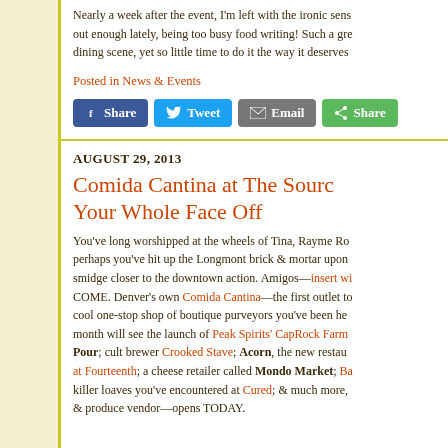Nearly a week after the event, I'm left with the ironic sens... out enough lately, being too busy food writing! Such a gre... dining scene, yet so little time to do it the way it deserves...
Posted in News & Events
[Figure (infographic): Social share buttons: Facebook Share, Twitter Tweet, Email, Green Share]
AUGUST 29, 2013
Comida Cantina at The Source... Your Whole Face Off
You've long worshipped at the wheels of Tina, Rayme Ro... perhaps you've hit up the Longmont brick & mortar upon ... smidge closer to the downtown action. Amigos—insert wi... COME. Denver's own Comida Cantina—the first outlet to... cool one-stop shop of boutique purveyors you've been he... month will see the launch of Peak Spirits' CapRock Farm... Pour; cult brewer Crooked Stave; Acorn, the new restau... at Fourteenth; a cheese retailer called Mondo Market; Ba... killer loaves you've encountered at Cured; & much more,... & produce vendor—opens TODAY.